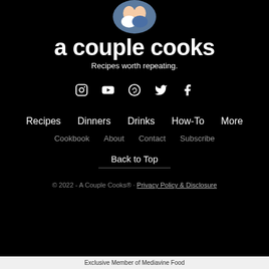[Figure (photo): Circular cropped photo of two people (a couple) at top of page]
a couple cooks
Recipes worth repeating.
[Figure (infographic): Social media icons: Instagram, YouTube, Pinterest, Twitter, Facebook]
Recipes   Dinners   Drinks   How-To   More
Cookbook   About   Contact   Subscribe
Back to Top
© 2022 - A Couple Cooks® · Privacy Policy & Disclosure
Exclusive Member of Mediavine Food